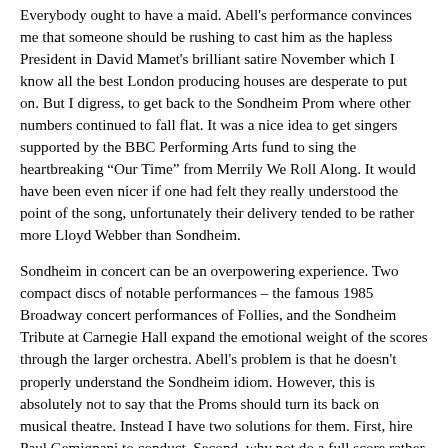Everybody ought to have a maid. Abell's performance convinces me that someone should be rushing to cast him as the hapless President in David Mamet's brilliant satire November which I know all the best London producing houses are desperate to put on. But I digress, to get back to the Sondheim Prom where other numbers continued to fall flat. It was a nice idea to get singers supported by the BBC Performing Arts fund to sing the heartbreaking “Our Time” from Merrily We Roll Along. It would have been even nicer if one had felt they really understood the point of the song, unfortunately their delivery tended to be rather more Lloyd Webber than Sondheim.
Sondheim in concert can be an overpowering experience. Two compact discs of notable performances – the famous 1985 Broadway concert performances of Follies, and the Sondheim Tribute at Carnegie Hall expand the emotional weight of the scores through the larger orchestra. Abell's problem is that he doesn't properly understand the Sondheim idiom. However, this is absolutely not to say that the Proms should turn its back on musical theatre. Instead I have two solutions for them. First, hire Paul Gemignani to conduct. Second, why not do a full score rather than bleeding chunks